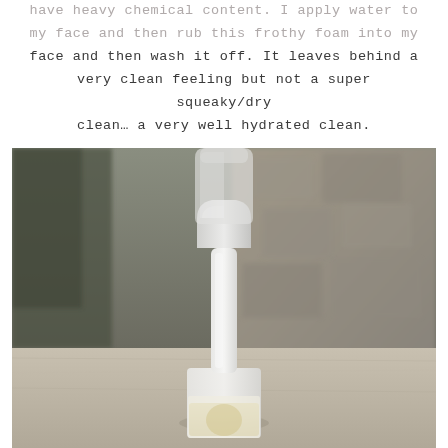have heavy chemical content.  I apply water to my face and then rub this frothy foam into my face and then wash it off.  It leaves behind a very clean feeling but not a super squeaky/dry clean… a very well hydrated clean.
[Figure (photo): A white pump-top dispenser bottle with a clear cap and a yellow/golden liquid visible at the bottom, sitting on a wooden surface outdoors with a blurred stone wall background.]